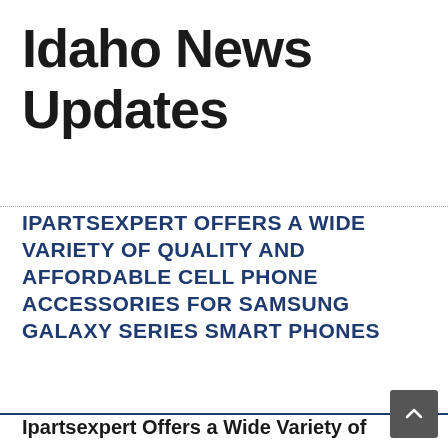Idaho News Updates
IPARTSEXPERT OFFERS A WIDE VARIETY OF QUALITY AND AFFORDABLE CELL PHONE ACCESSORIES FOR SAMSUNG GALAXY SERIES SMART PHONES
Ipartsexpert Offers a Wide Variety of